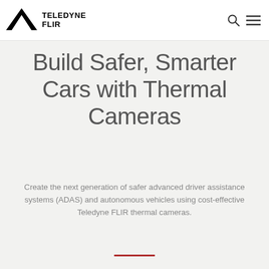TELEDYNE FLIR
Build Safer, Smarter Cars with Thermal Cameras
Create the next generation of safer advanced driver assistance systems (ADAS) and autonomous vehicles using cost-effective Teledyne FLIR thermal cameras.